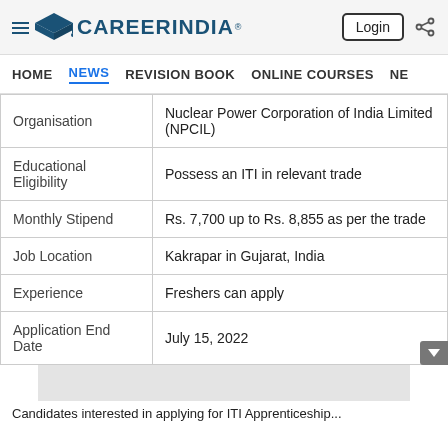CareerIndia — Login | Share
HOME  NEWS  REVISION BOOK  ONLINE COURSES  NE
| Organisation | Nuclear Power Corporation of India Limited (NPCIL) |
| Educational Eligibility | Possess an ITI in relevant trade |
| Monthly Stipend | Rs. 7,700 up to Rs. 8,855 as per the trade |
| Job Location | Kakrapar in Gujarat, India |
| Experience | Freshers can apply |
| Application End Date | July 15, 2022 |
Candidates interested in applying for ITI Apprenticeship...